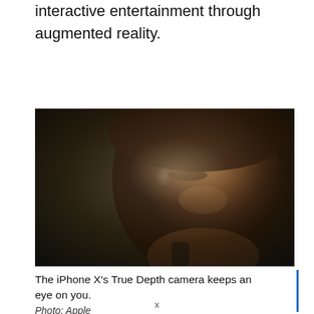transactions and health care, and provide interactive entertainment through augmented reality.
[Figure (photo): Close-up profile portrait of a young woman with wet hair and skin, photographed in dramatic low-key lighting against a dark background. The image appears to be from an Apple iPhone X advertisement showcasing the TrueDepth camera.]
The iPhone X's True Depth camera keeps an eye on you.
Photo: Apple